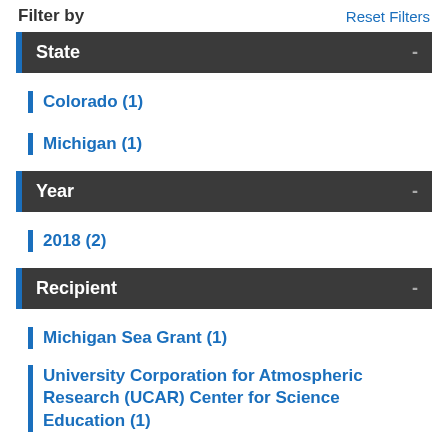Filter by
Reset Filters
State -
Colorado (1)
Michigan (1)
Year -
2018 (2)
Recipient -
Michigan Sea Grant (1)
University Corporation for Atmospheric Research (UCAR) Center for Science Education (1)
University of Colorado Boulder/Cooperative...